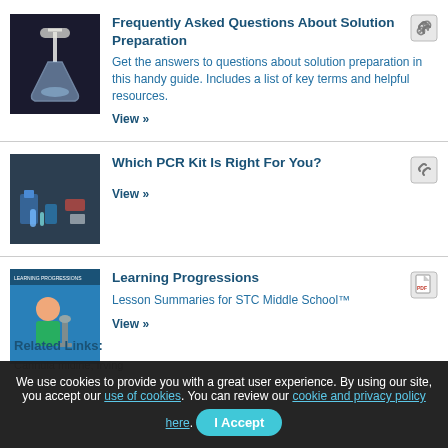[Figure (photo): Hand holding a glass flask/beaker in a laboratory setting]
Frequently Asked Questions About Solution Preparation
Get the answers to questions about solution preparation in this handy guide. Includes a list of key terms and helpful resources.
View »
[Figure (photo): PCR kit supplies on a lab table including tubes, equipment and reagents]
Which PCR Kit Is Right For You?
View »
[Figure (photo): Learning Progressions cover showing a child looking through a microscope]
Learning Progressions
Lesson Summaries for STC Middle School™
View »
We use cookies to provide you with a great user experience. By using our site, you accept our use of cookies. You can review our cookie and privacy policy here.